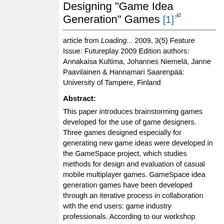Designing "Game Idea Generation" Games [1]
article from Loading... 2009, 3(5) Feature Issue: Futureplay 2009 Edition authors: Annakaisa Kultima, Johannes Niemelä, Janne Paavilainen & Hannamari Saarenpää: University of Tampere, Finland
Abstract:
This paper introduces brainstorming games developed for the use of game designers. Three games designed especially for generating new game ideas were developed in the GameSpace project, which studies methods for design and evaluation of casual mobile multiplayer games. GameSpace idea generation games have been developed through an iterative process in collaboration with the end users: game industry professionals. According to our workshop experiences and tentative results from a pilot study, idea generation games can be successful devices for the creative work of game designers. Gamebased idea generation